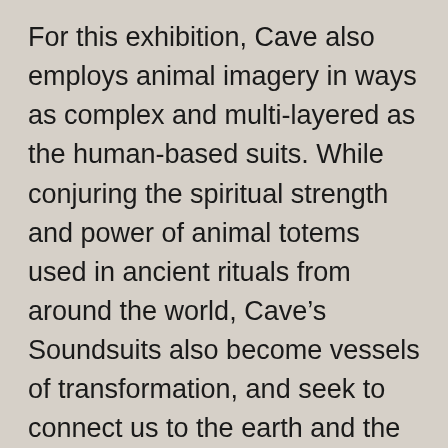For this exhibition, Cave also employs animal imagery in ways as complex and multi-layered as the human-based suits. While conjuring the spiritual strength and power of animal totems used in ancient rituals from around the world, Cave’s Soundsuits also become vessels of transformation, and seek to connect us to the earth and the animals around us. Using wit and humor and a fanciful sensibility, Cave’s Soundsuits beg us to pay attention and to dream of a different future.

“To me, everything outside of myself is